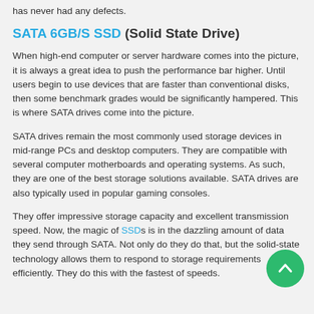has never had any defects.
SATA 6GB/S SSD (Solid State Drive)
When high-end computer or server hardware comes into the picture, it is always a great idea to push the performance bar higher. Until users begin to use devices that are faster than conventional disks, then some benchmark grades would be significantly hampered. This is where SATA drives come into the picture.
SATA drives remain the most commonly used storage devices in mid-range PCs and desktop computers. They are compatible with several computer motherboards and operating systems. As such, they are one of the best storage solutions available. SATA drives are also typically used in popular gaming consoles.
They offer impressive storage capacity and excellent transmission speed. Now, the magic of SSDs is in the dazzling amount of data they send through SATA. Not only do they do that, but the solid-state technology allows them to respond to storage requirements efficiently. They do this with the fastest of speeds.